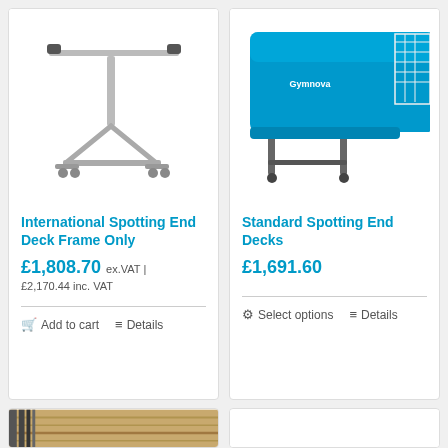[Figure (photo): International Spotting End Deck Frame Only — metal T-bar frame on wheels, silver/chrome, no padding]
International Spotting End Deck Frame Only
£1,808.70 ex.VAT |
£2,170.44 inc. VAT
Add to cart   Details
[Figure (photo): Standard Spotting End Decks — blue padded gymnastics end deck on wheeled folding frame with net]
Standard Spotting End Decks
£1,691.60
Select options   Details
[Figure (photo): Bottom left product card — wooden beam or rail, partially visible]
[Figure (photo): Bottom right product card — white background, no visible content]